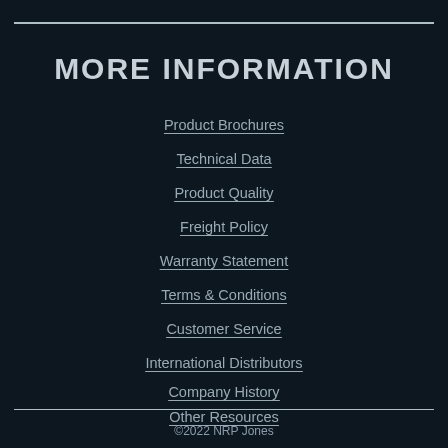MORE INFORMATION
Product Brochures
Technical Data
Product Quality
Freight Policy
Warranty Statement
Terms & Conditions
Customer Service
International Distributors
Company History
Other Resources
©2022 NRP Jones